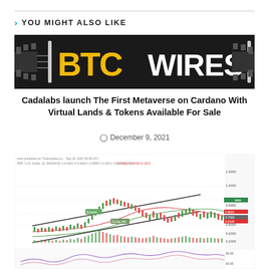YOU MIGHT ALSO LIKE
[Figure (logo): BTC Wires logo on black background with circuit board connector motif. BTC in yellow and white text, WIRES in white text.]
Cadalabs launch The First Metaverse on Cardano With Virtual Lands & Tokens Available For Sale
December 9, 2021
[Figure (continuous-plot): Candlestick chart of XRP/USD showing price movement with support and resistance levels marked. Green and red candles with volume bars at bottom and an oscillator indicator below.]